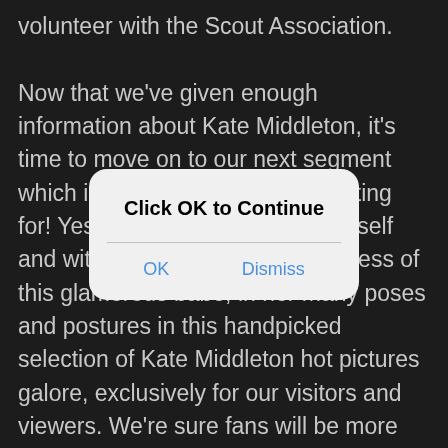volunteer with the Scout Association.

Now that we've given enough information about Kate Middleton, it's time to move on to our next segment which is what you've all been waiting for! Yes! It's time to immerse yourself and witness the beauty and sexiness of this glamorous babe, in her many poses and postures in this handpicked selection of Kate Middleton hot pictures galore, exclusively for our visitors and viewers. We're sure fans will be more than elated to witness and admire these Kate Middleton sexy pictures which are sure to be to their liking and satisfaction! Each and every snap of her is a
[Figure (screenshot): A modal dialog box with rounded corners and light gray background overlaying the text. Title reads 'Click OK to Continue' in bold. Two buttons: 'OK' and 'Dismiss' in blue text, separated by a horizontal line.]